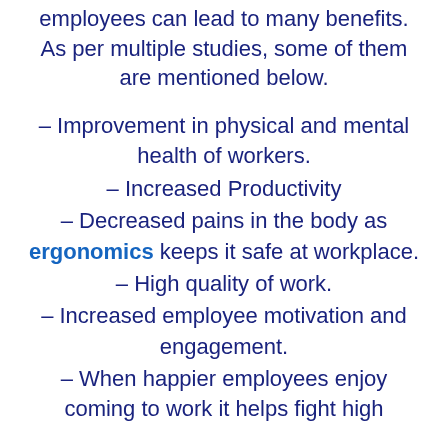employees can lead to many benefits. As per multiple studies, some of them are mentioned below.
– Improvement in physical and mental health of workers.
– Increased Productivity
– Decreased pains in the body as ergonomics keeps it safe at workplace.
– High quality of work.
– Increased employee motivation and engagement.
– When happier employees enjoy coming to work it helps fight high